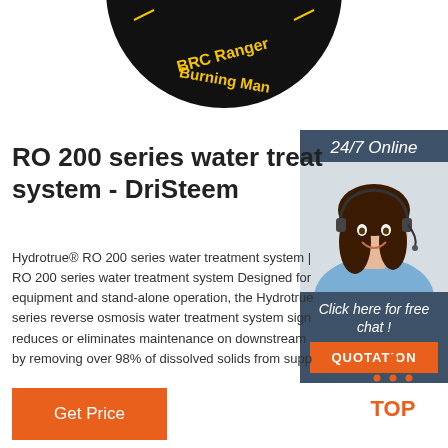[Figure (logo): Circular black embroidered patch with 'BRC Ranger Burning Man' text in yellow/gold, partially visible at top of page]
RO 200 series water treatment system - DriSteem
Hydrotrue® RO 200 series water treatment system | RO 200 series water treatment system Designed for equipment and stand-alone operation, the Hydrotrue series reverse osmosis water treatment system significantly reduces or eliminates maintenance on downstream equipment by removing over 98% of dissolved solids from supply water.
[Figure (photo): Woman with headset smiling, customer service representative, with '24/7 Online' header and 'Click here for free chat!' text overlay]
Get Price
[Figure (logo): Orange and black TOP logo with dotted triangle above the word TOP in orange]